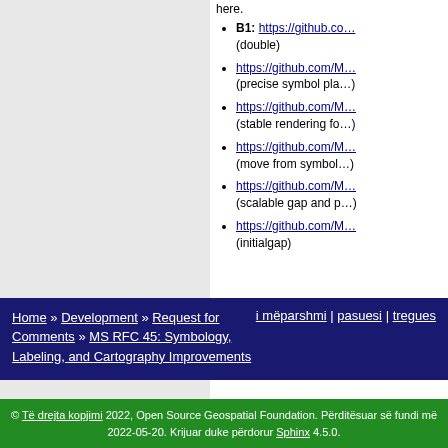here.
B1: https://github.co… (double)
https://github.com/M… (precise symbol pla…)
https://github.com/M… (stable rendering fo…)
https://github.com/M… (move from symbol…)
https://github.com/M… (scalable gap and p…)
https://github.com/M… (initialgap)
Home » Development » Request for Comments » MS RFC 45: Symbology, Labeling, and Cartography Improvements | i mëparshmi | pasuesi | tregues
© Të drejta kopjimi 2022, Open Source Geospatial Foundation. Përditësuar së fundi më 2022-05-20. Krijuar duke përdorur Sphinx 4.5.0.